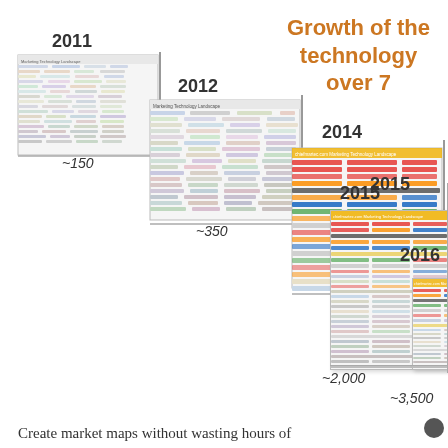Growth of the technology over 7
[Figure (infographic): Cascading staircase of Marketing Technology Landscape slides from 2011 to 2016, each growing in size and density, with year labels (2011, 2012, 2014, 2015, 2016) and approximate vendor counts (~150, ~350, ~1,000, ~2,000, ~3,500) shown below each slide.]
Create market maps without wasting hours of